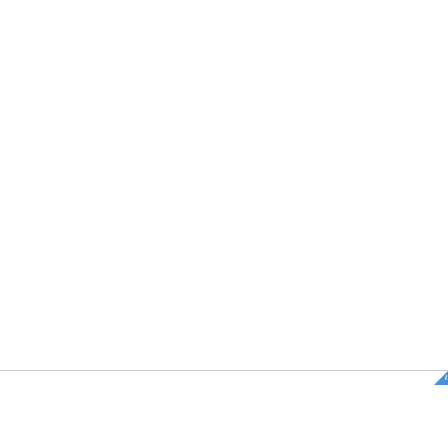[Figure (screenshot): Mostly blank white area representing a webpage with content above the fold, taking up approximately the top 83% of the page.]
[Figure (screenshot): Advertisement banner at the bottom of the page for Chewy.com. Shows pet food products image on the left, text 'Pet Food, Products, Supplies at Low Prices -' in bold blue, 'Pay the lowest prices on pet supplies at Chewy.com' in gray, and 'chewy.com' in green. Has a circular arrow/next button on the right and a close (X) button. AdChoices indicator in top right corner.]